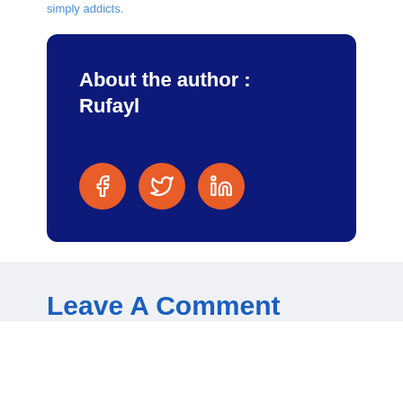simply addicts.
[Figure (infographic): Dark navy blue author card with text 'About the author : Rufayl' and three orange circular social media icons for Facebook, Twitter, and LinkedIn]
Leave A Comment